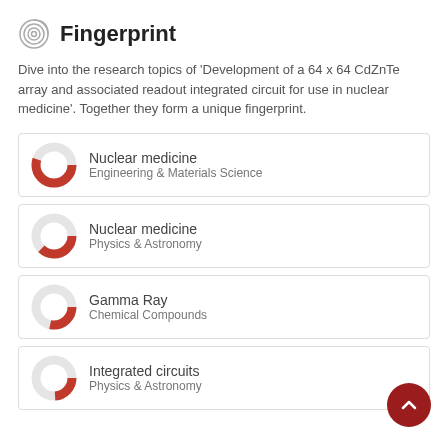Fingerprint
Dive into the research topics of 'Development of a 64 x 64 CdZnTe array and associated readout integrated circuit for use in nuclear medicine'. Together they form a unique fingerprint.
Nuclear medicine — Engineering & Materials Science
Nuclear medicine — Physics & Astronomy
Gamma Ray — Chemical Compounds
Integrated circuits — Physics & Astronomy